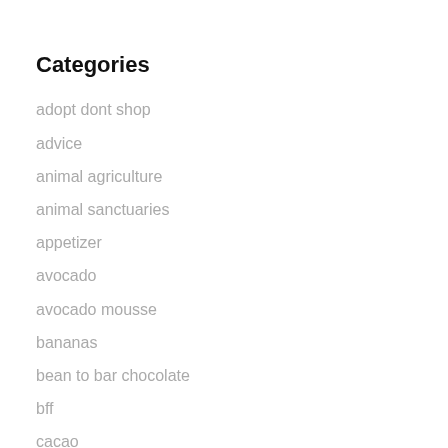Categories
adopt dont shop
advice
animal agriculture
animal sanctuaries
appetizer
avocado
avocado mousse
bananas
bean to bar chocolate
bff
cacao